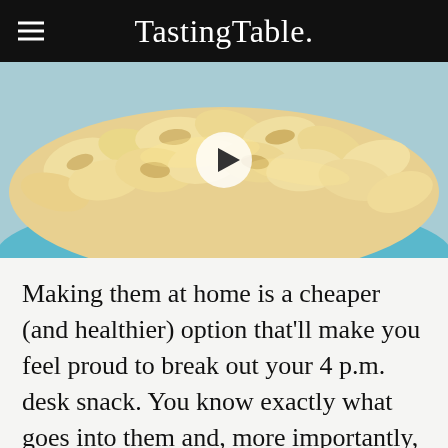Tasting Table.
[Figure (photo): Close-up photo of macaroni and cheese in a blue bowl, with a video play button overlay]
Making them at home is a cheaper (and healthier) option that'll make you feel proud to break out your 4 p.m. desk snack. You know exactly what goes into them and, more importantly, what doesn't: namely, hard-to-pronounce ingredients like tricalcium phosphate and shelf life-extending preservatives that sound like they belong in a